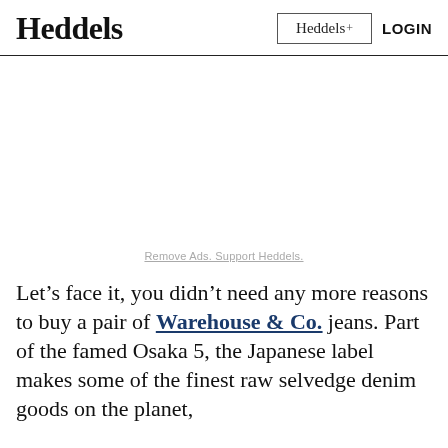Heddels | Heddels+ | LOGIN
[Figure (other): Advertisement / blank white space area]
Remove Ads. Support Heddels.
Let’s face it, you didn’t need any more reasons to buy a pair of Warehouse & Co. jeans. Part of the famed Osaka 5, the Japanese label makes some of the finest raw selvedge denim goods on the planet, full of gorgeous construction details, beautifully